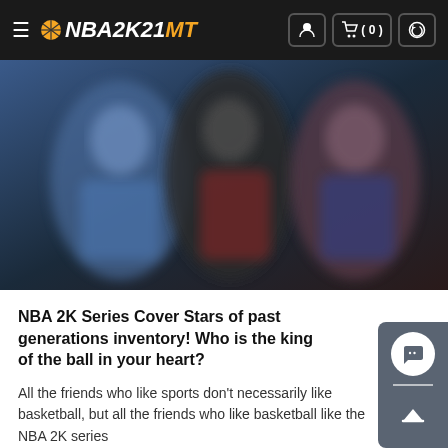NBA2K21MT — navigation bar with hamburger menu, logo, user icon, cart (0), and refresh icon
[Figure (photo): Blurred/stylized image of NBA 2K game cover stars — basketball players in team uniforms against a dark background]
NBA 2K Series Cover Stars of past generations inventory! Who is the king of the ball in your heart?
All the friends who like sports don't necessarily like basketball, but all the friends who like basketball like the NBA 2K series